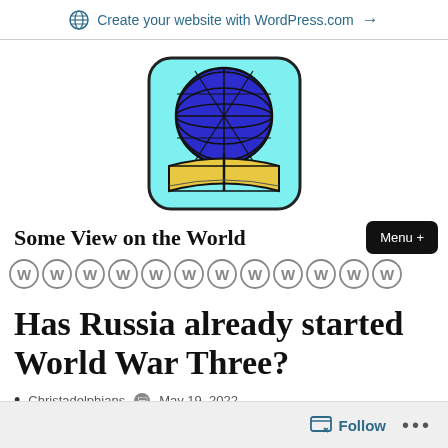Create your website with WordPress.com →
[Figure (logo): Globe sitting on open book logo with cyan rounded square background — Some View on the World blog logo]
Some View on the World
[Figure (other): Row of WordPress W circle icons]
Has Russia already started World War Three?
Christadelphians  May 19, 2022
Follow ...